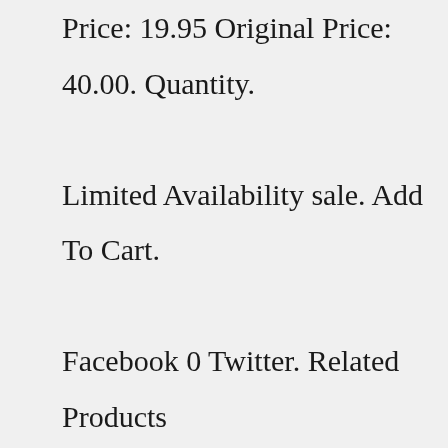Price: 19.95 Original Price: 40.00. Quantity. Limited Availability sale. Add To Cart. Facebook 0 Twitter. Related Products Coming Soon! Black/Gold Foil Ceramic Ashtray. Sale Price: 29.95 Original Price: 60.00. sale. USB Lighter & Cutter Gift Set.HUGE LIGHTER. We recently brought you enormous foot long rolling papers. So now that you're smoking gigantic joints, what better to light them with than a gigantic lighter !? (I mean, I guess I can